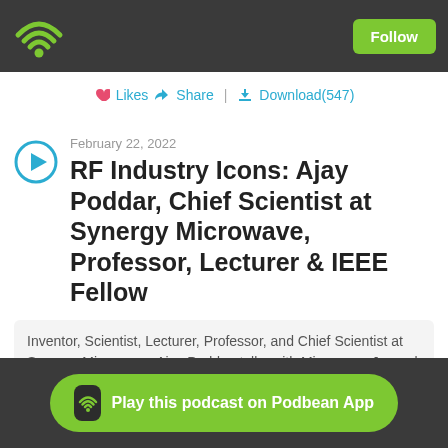Podbean — Follow
Likes  Share  |  Download(547)
February 22, 2022
RF Industry Icons: Ajay Poddar, Chief Scientist at Synergy Microwave, Professor, Lecturer & IEEE Fellow
Inventor, Scientist, Lecturer, Professor, and Chief Scientist at Synergy Microwave, Ajay Poddar, talks with Microwave Journal Media Director Pritt Hall, and his ions at Synergy Microwave and extensive work
Play this podcast on Podbean App